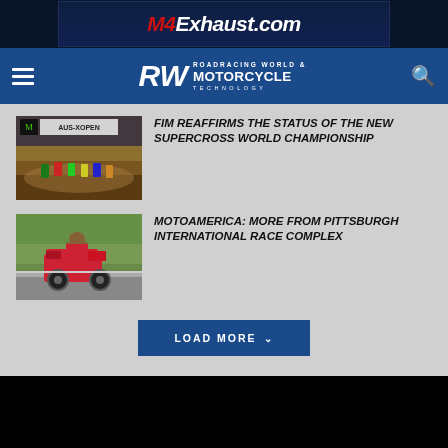[Figure (screenshot): M4Exhaust.com banner advertisement with red and white italic text on dark background]
[Figure (logo): Roadracing World & Motorcycle Technology logo with RW letters and navigation bar on blue background, with hamburger menu and search icon]
[Figure (photo): Supercross race photo showing multiple motocross riders on a dirt track at AUS-XOPEN event with crowd in background]
FIM REAFFIRMS THE STATUS OF THE NEW SUPERCROSS WORLD CHAMPIONSHIP
[Figure (photo): MotoAmerica race photo showing a red motorcycle leaning into a turn on a road racing circuit at Pittsburgh International Race Complex]
MOTOAMERICA: MORE FROM PITTSBURGH INTERNATIONAL RACE COMPLEX